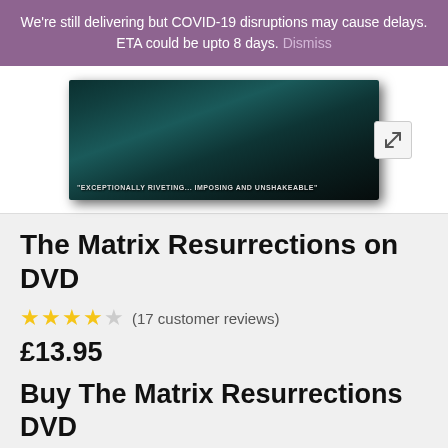We're still delivering but COVID-19 disruptions may cause delays. ETA could be upto 8 days. Dismiss
[Figure (photo): The Matrix Resurrections DVD box set product image showing a wide DVD box with green/teal Matrix-style digital rain imagery, text reading 'EXCEPTIONALLY RIVETING... IMPOSING AND UNSHAKEABLE', with a WB logo visible. An expand/zoom button appears to the right.]
The Matrix Resurrections on DVD
★★★★☆ (17 customer reviews)
£13.95
Buy The Matrix Resurrections DVD